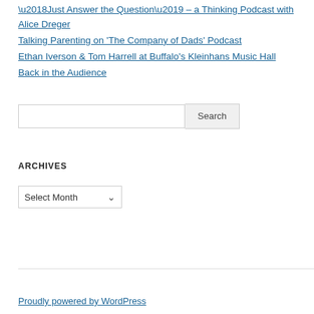‘Just Answer the Question’ – a Thinking Podcast with Alice Dreger
Talking Parenting on ‘The Company of Dads’ Podcast
Ethan Iverson & Tom Harrell at Buffalo’s Kleinhans Music Hall
Back in the Audience
Search
ARCHIVES
Select Month
Proudly powered by WordPress